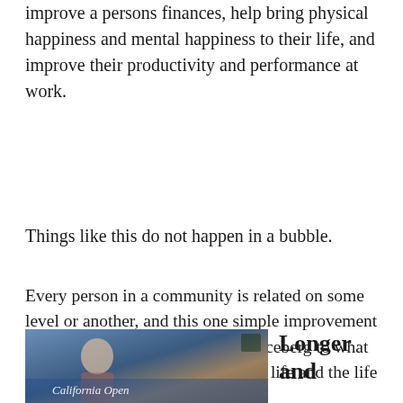improve a persons finances, help bring physical happiness and mental happiness to their life, and improve their productivity and performance at work.
Things like this do not happen in a bubble.
Every person in a community is related on some level or another, and this one simple improvement to one aspect is just the tip of the iceberg to what is happening to improve their own life and the life of the people around them.
[Figure (photo): Photo of a person at what appears to be the California Open event, with a blue banner visible. Partially cropped at bottom of page.]
Longer and